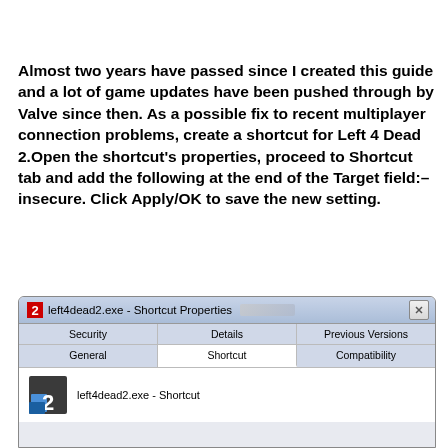Almost two years have passed since I created this guide and a lot of game updates have been pushed through by Valve since then. As a possible fix to recent multiplayer connection problems, create a shortcut for Left 4 Dead 2.Open the shortcut's properties, proceed to Shortcut tab and add the following at the end of the Target field:–insecure. Click Apply/OK to save the new setting.
[Figure (screenshot): Windows 7 Shortcut Properties dialog for left4dead2.exe showing title bar, tabs (Security, Details, Previous Versions, General, Shortcut, Compatibility), and content area with Left 4 Dead 2 icon and label 'left4dead2.exe - Shortcut']